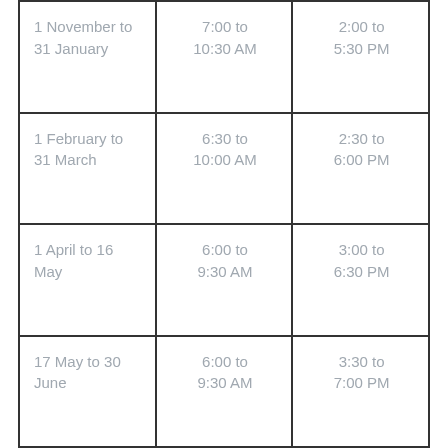| 1 November to 31 January | 7:00 to 10:30 AM | 2:00 to 5:30 PM |
| 1 February to 31 March | 6:30 to 10:00 AM | 2:30 to 6:00 PM |
| 1 April to 16 May | 6:00 to 9:30 AM | 3:00 to 6:30 PM |
| 17 May to 30 June | 6:00 to 9:30 AM | 3:30 to 7:00 PM |